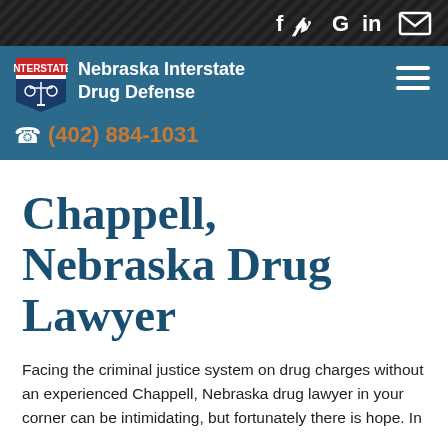f  Twitter  G  in  [mail]
[Figure (logo): Nebraska Interstate Drug Defense logo: red/blue interstate shield with scales of justice icon, white text 'Nebraska Interstate Drug Defense', phone number (402) 884-1031, hamburger menu icon]
Chappell, Nebraska Drug Lawyer
Facing the criminal justice system on drug charges without an experienced Chappell, Nebraska drug lawyer in your corner can be intimidating, but fortunately there is hope. In